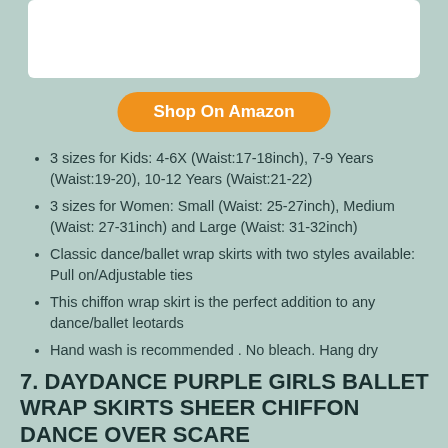[Figure (photo): White image placeholder at top of page]
Shop On Amazon
3 sizes for Kids: 4-6X (Waist:17-18inch), 7-9 Years (Waist:19-20), 10-12 Years (Waist:21-22)
3 sizes for Women: Small (Waist: 25-27inch), Medium (Waist: 27-31inch) and Large (Waist: 31-32inch)
Classic dance/ballet wrap skirts with two styles available: Pull on/Adjustable ties
This chiffon wrap skirt is the perfect addition to any dance/ballet leotards
Hand wash is recommended . No bleach. Hang dry
7. DAYDANCE PURPLE GIRLS BALLET WRAP SKIRTS SHEER CHIFFON DANCE OVER SCARE